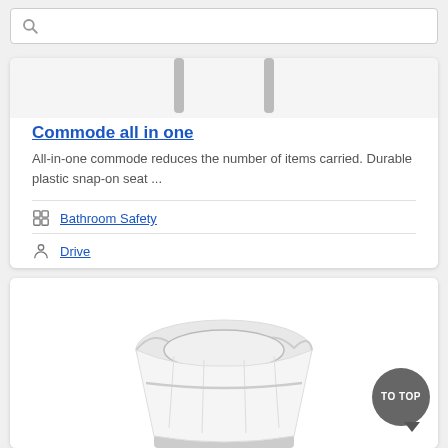[Figure (screenshot): Search input bar with magnifying glass icon]
[Figure (photo): Partial photo of a commode product showing two vertical legs against a light background]
Commode all in one
All-in-one commode reduces the number of items carried. Durable plastic snap-on seat ...
Bathroom Safety
Drive
[Figure (photo): White plastic commode liner/bag inside a gray bucket, viewed from above at an angle]